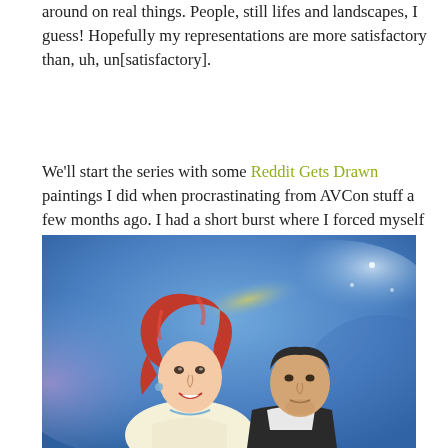...around on real things. People, still lifes and landscapes, I guess! Hopefully my representations are more satisfactory than, uh, un[satisfactory].
We'll start the series with some Reddit Gets Drawn paintings I did when procrastinating from AVCon stuff a few months ago. I had a short burst where I forced myself to draw each day and heading over to Reddit to find models to paint was very convenient.
[Figure (illustration): Watercolor painting of a smiling red-haired woman and a dark-haired man, set against a blue and purple watercolor sky background with yellow accents. The woman is in the foreground with wind-blown hair and a necklace, wearing a light-colored top. The man is behind her, wearing a dark jacket.]